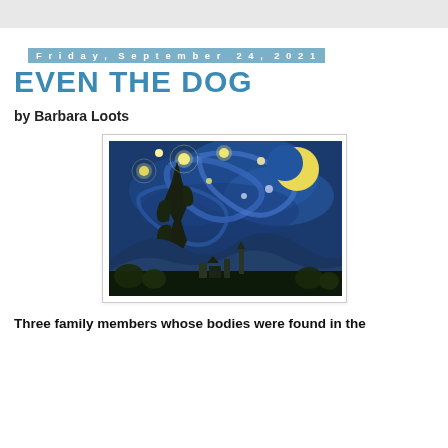Friday, September 24, 2021
EVEN THE DOG
by Barbara Loots
[Figure (illustration): Van Gogh's The Starry Night painting showing a swirling night sky with stars, crescent moon, cypress tree, and village below]
Three family members whose bodies were found in the